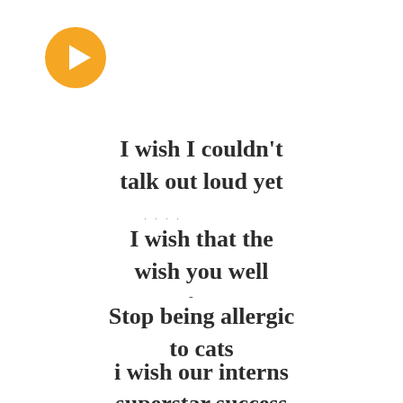[Figure (illustration): Orange/yellow rounded play button icon (circle with triangle pointing right)]
I wish I couldn't talk out loud yet
I wish that the wish you well
Stop being allergic to cats
i wish our interns superstar success
I wish for my